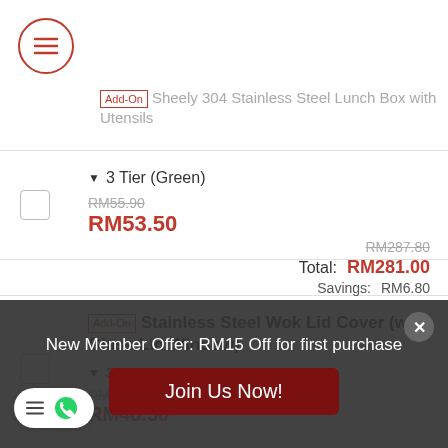[Figure (screenshot): Hamburger menu icon inside a red circle]
[Add-On] Sheely 304 Stainless Steel Lunch Box with Utensils
3 Tier (Green) — RM55.90 (crossed out), RM53.50
[Add-On] Stainless Steel Wok Lid Cover (with Glass Lid Window) — 36cm — RM50.00 (crossed out), RM48.50
RM287.80 (crossed out)
Total: RM281.00
Savings: RM6.80
New Member Offer: RM15 Off for first purchase
Join Us Now!